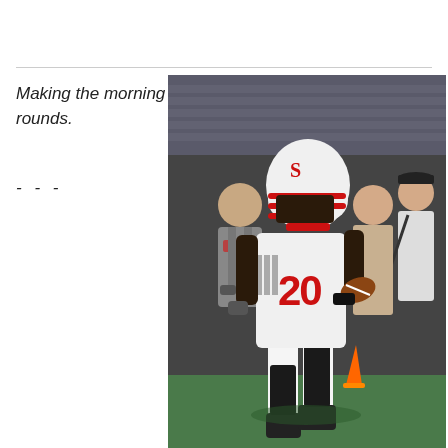Making the morning rounds.
- - -
[Figure (photo): A college football player wearing jersey number 20 in white and red uniform with a red helmet running with the ball during a game. Other players and spectators visible in the background on a field sideline.]